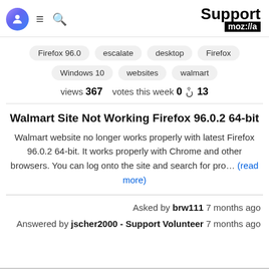Support moz://a
Firefox 96.0
escalate
desktop
Firefox
Windows 10
websites
walmart
views 367  votes this week 0  13
Walmart Site Not Working Firefox 96.0.2 64-bit
Walmart website no longer works properly with latest Firefox 96.0.2 64-bit. It works properly with Chrome and other browsers. You can log onto the site and search for pro... (read more)
Asked by brw111 7 months ago
Answered by jscher2000 - Support Volunteer 7 months ago